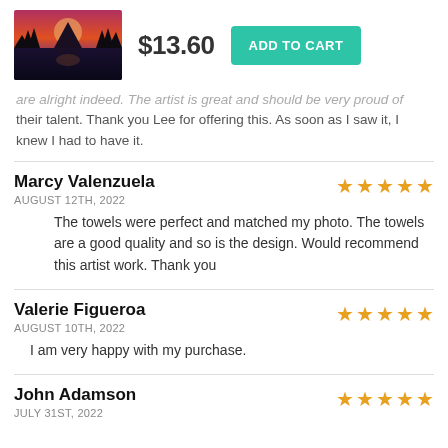[Figure (photo): Product image of a landscape photo on a towel, showing mountain silhouettes reflected in water at sunset with purple and red sky]
$13.60
ADD TO CART
are alright indeed. The artist is great and should be very proud of their talent. Thank you Lee for offering this. As soon as I saw it, I knew I had to have it.
Marcy Valenzuela
AUGUST 12TH, 2022
The towels were perfect and matched my photo. The towels are a good quality and so is the design. Would recommend this artist work. Thank you
Valerie Figueroa
AUGUST 10TH, 2022
I am very happy with my purchase.
John Adamson
JULY 31ST, 2022